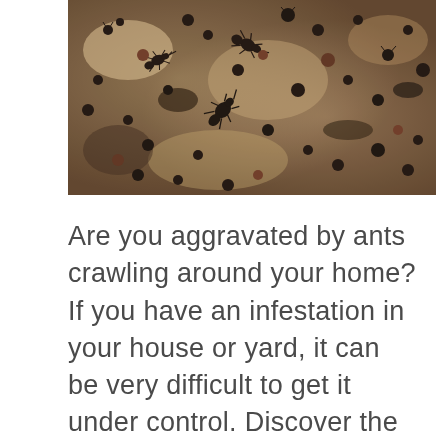[Figure (photo): Close-up macro photograph of many ants (dark reddish-brown and black) crawling on a light-colored surface, viewed from above.]
Are you aggravated by ants crawling around your home? If you have an infestation in your house or yard, it can be very difficult to get it under control. Discover the different methods for controlling ants, including how and when to use bait and what works best for different species. Learn how to eradicate ants now.